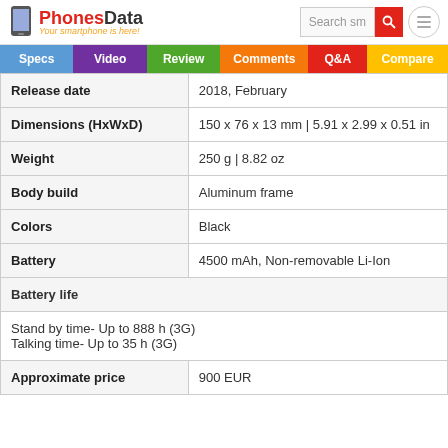PhonesData - Your smartphone is here!
| Spec | Value |
| --- | --- |
| Release date | 2018, February |
| Dimensions (HxWxD) | 150 x 76 x 13 mm | 5.91 x 2.99 x 0.51 in |
| Weight | 250 g | 8.82 oz |
| Body build | Aluminum frame |
| Colors | Black |
| Battery | 4500 mAh,  Non-removable Li-Ion |
| Battery life | Stand by time- Up to 888 h (3G)
Talking time- Up to 35 h (3G) |
| Approximate price | 900 EUR |